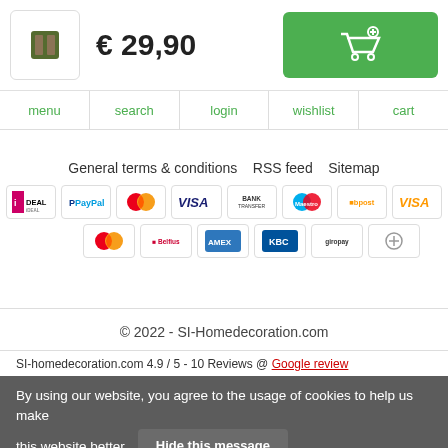€ 29,90 — product thumbnail and add to cart button
menu  search  login  wishlist  cart
General terms & conditions  RSS feed  Sitemap
[Figure (infographic): Payment method icons: iDEAL, PayPal, Mastercard, VISA, BANK TRANSFER, Maestro, bpost, VISA (second), Mastercard, Belfius, American Express, KBC, giropay, other icon]
© 2022 - SI-Homedecoration.com
Sl-homedecoration.com 4.9 / 5 - 10 Reviews @ Google review
By using our website, you agree to the usage of cookies to help us make this website better. Hide this message More on cookies »
[Figure (logo): Trustpilot logo with green star]